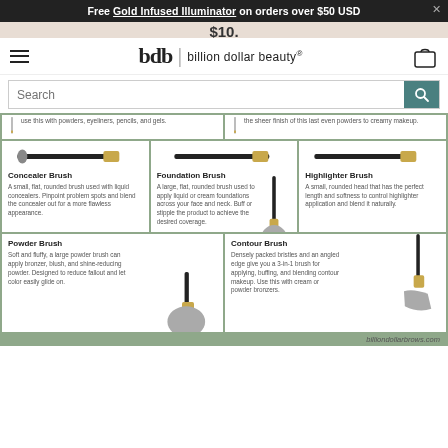Free Gold Infused Illuminator on orders over $50 USD
[Figure (logo): bdb | billion dollar beauty® logo with hamburger menu and shopping bag icon]
Search
use this with powders, eyeliners, pencils, and gels.
the sheer finish of this last even powders to creamy makeup.
Foundation Brush
A large, flat, rounded brush used to apply liquid or cream foundations across your face and neck. Buff or stipple the product to achieve the desired coverage.
Concealer Brush
A small, flat, rounded brush used with liquid concealers. Pinpoint problem spots and blend the concealer out for a more flawless appearance.
Highlighter Brush
A small, rounded head that has the perfect length and softness to control highlighter application and blend it naturally.
Powder Brush
Soft and fluffy, a large powder brush can apply bronzer, blush, and shine-reducing powder. Designed to reduce fallout and let color easily glide on.
Contour Brush
Densely packed bristles and an angled edge give you a 3-in-1 brush for applying, buffing, and blending contour makeup. Use this with cream or powder bronzers.
billiondollarbrows.com